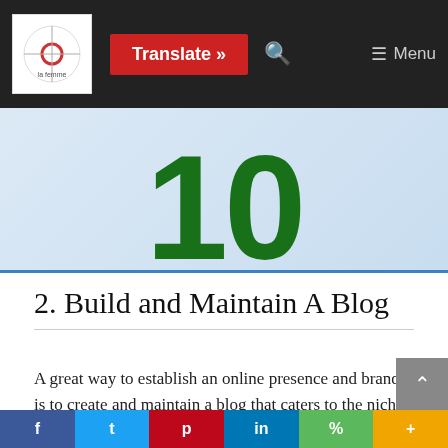[Figure (screenshot): Website navigation bar with logo, red Translate button, search icon, and hamburger menu on dark background]
[Figure (illustration): Light blue banner image showing the large bold green number '10' partially visible]
2. Build and Maintain A Blog
A great way to establish an online presence and brand, is to create and maintain a blog that caters to the niche you've chosen. Hundreds of blogs have cropped up in the past few years. Platforms like WordPress
f  t  p  in  %  +